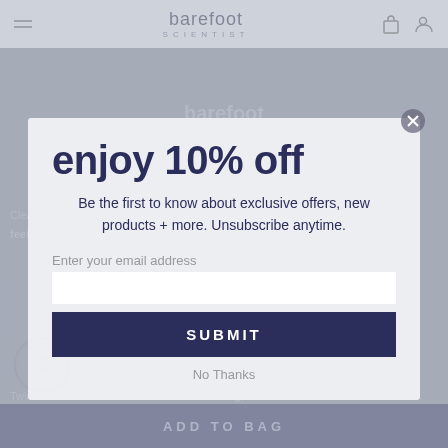barefoot SCIENTIST
[Figure (screenshot): Website popup modal from Barefoot Scientist showing a 10% off email signup offer overlay on a product page background]
enjoy 10% off
Be the first to know about exclusive offers, new products + more. Unsubscribe anytime.
Enter your email address
SUBMIT
No Thanks
ADD TO BAG